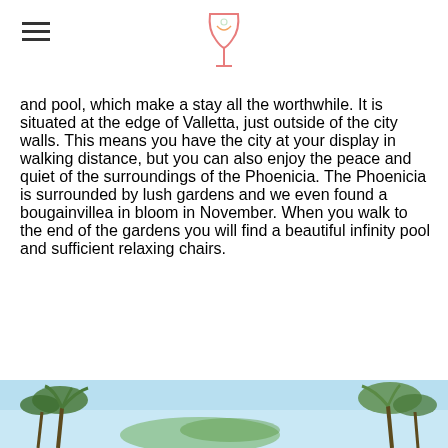[hamburger menu icon] [wine glass logo]
and pool, which make a stay all the worthwhile. It is situated at the edge of Valletta, just outside of the city walls. This means you have the city at your display in walking distance, but you can also enjoy the peace and quiet of the surroundings of the Phoenicia. The Phoenicia is surrounded by lush gardens and we even found a bougainvillea in bloom in November. When you walk to the end of the gardens you will find a beautiful infinity pool and sufficient relaxing chairs.
[Figure (photo): Partial photo strip showing palm trees and tropical scenery at the bottom of the page]